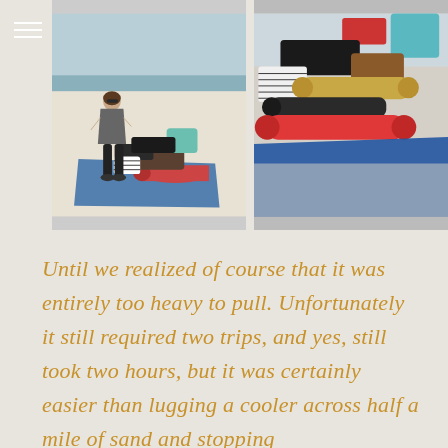[Figure (photo): Two side-by-side beach photos. Left: a woman standing on white sand beach next to a pile of gear including rolled mats, bags, and a blue tarp. Right: close-up of the same gear pile on the blue tarp on the beach, including red foam roller, zebra-stripe bag, and various bags and rolled items.]
Until we realized of course that it was entirely too heavy to pull. Unfortunately it still required two trips, and yes, still took two hours, but it was certainly easier than lugging a cooler across half a mile of sand and stopping